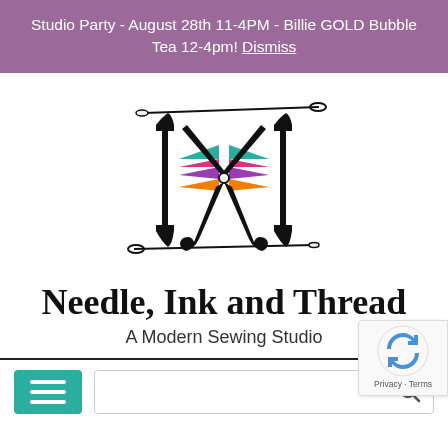Studio Party - August 28th 11-4PM - Billie GOLD Bubble Tea 12-4pm! Dismiss
[Figure (logo): Needle, Ink and Thread logo: stylized letter I shapes flanking crossed scissors, with colorful horizontal stripes (teal, magenta/pink, purple, orange) forming arrow shapes pointing inward, needle and thread above and below.]
Needle, Ink and Thread
A Modern Sewing Studio